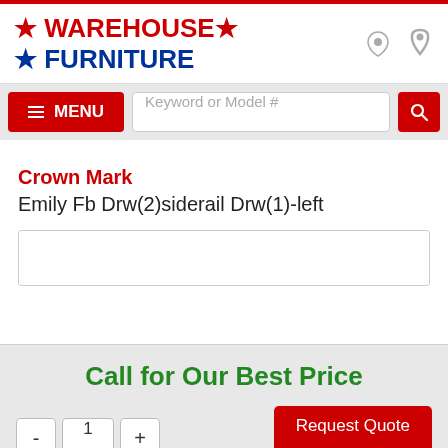[Figure (logo): Warehouse Furniture logo with red WAREHOUSE text, blue FURNITURE text, and star decorations]
Keyword or Model #
MENU
Crown Mark
Emily Fb Drw(2)siderail Drw(1)-left
Call for Our Best Price
1
Request Quote